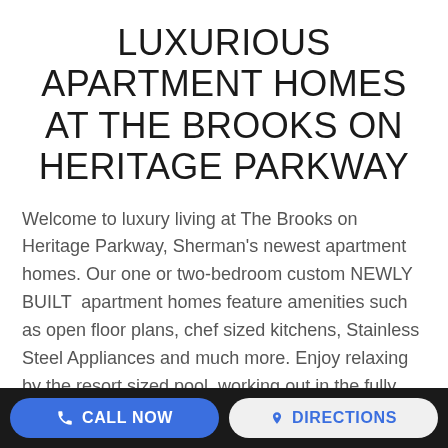LUXURIOUS APARTMENT HOMES AT THE BROOKS ON HERITAGE PARKWAY
Welcome to luxury living at The Brooks on Heritage Parkway, Sherman's newest apartment homes. Our one or two-bedroom custom NEWLY BUILT  apartment homes feature amenities such as open floor plans, chef sized kitchens, Stainless Steel Appliances and much more. Enjoy relaxing by the resort sized pool, working out in the fully equipped Fitness Center or hosting your next family event in the beautiful clubhouse. Located along a growing corridor in
CALL NOW   DIRECTIONS